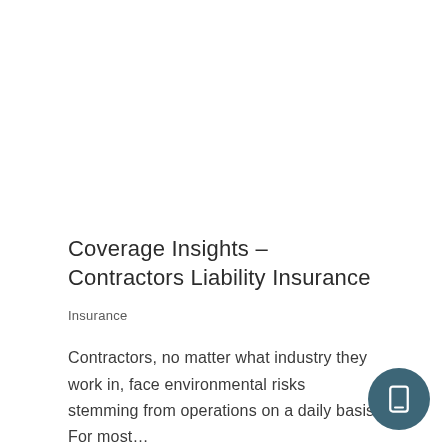Coverage Insights – Contractors Liability Insurance
Insurance
Contractors, no matter what industry they work in, face environmental risks stemming from operations on a daily basis. For most…